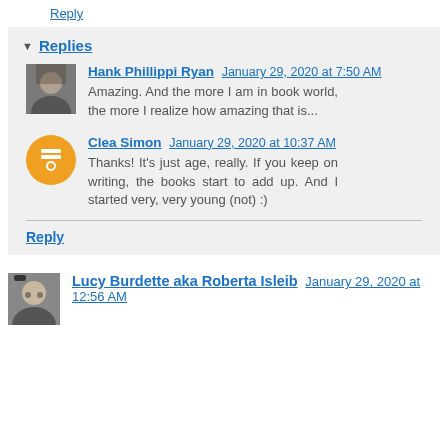Reply
Replies
Hank Phillippi Ryan January 29, 2020 at 7:50 AM
Amazing. And the more I am in book world, the more I realize how amazing that is...
Clea Simon January 29, 2020 at 10:37 AM
Thanks! It's just age, really. If you keep on writing, the books start to add up. And I started very, very young (not) :)
Reply
Lucy Burdette aka Roberta Isleib January 29, 2020 at 12:56 AM